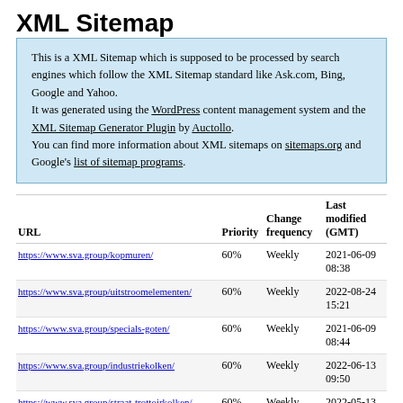XML Sitemap
This is a XML Sitemap which is supposed to be processed by search engines which follow the XML Sitemap standard like Ask.com, Bing, Google and Yahoo.
It was generated using the WordPress content management system and the XML Sitemap Generator Plugin by Auctollo.
You can find more information about XML sitemaps on sitemaps.org and Google's list of sitemap programs.
| URL | Priority | Change frequency | Last modified (GMT) |
| --- | --- | --- | --- |
| https://www.sva.group/kopmuren/ | 60% | Weekly | 2021-06-09 08:38 |
| https://www.sva.group/uitstroomelementen/ | 60% | Weekly | 2022-08-24 15:21 |
| https://www.sva.group/specials-goten/ | 60% | Weekly | 2021-06-09 08:44 |
| https://www.sva.group/industriekolken/ | 60% | Weekly | 2022-06-13 09:50 |
| https://www.sva.group/straat-trottoirkolken/ | 60% | Weekly | 2022-05-13 09:48 |
| https://www.sva.group/goot-straatkolken/ | 60% | Weekly | 2022-05-11 12:14 |
| https://www.sva.group/tegelpadkolken/ | 60% | Weekly | 2022-06-08 ... |